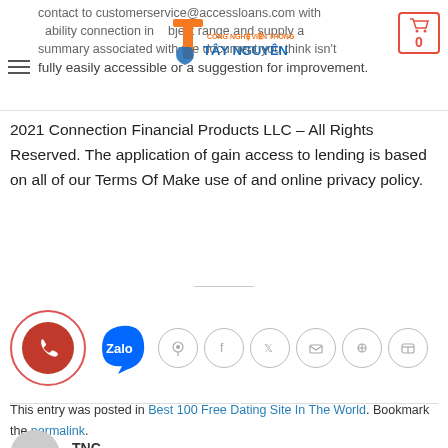contact to customerservice@accessloans.com with disability connection in subject range and supply a summary associated with the document you think isn't fully easily accessible or a suggestion for improvement.
[Figure (logo): Tay Nguyen Vien Thong logo with orange T letter and company name]
2021 Connection Financial Products LLC – All Rights Reserved. The application of gain access to lending is based on all of our Terms Of Make use of and online privacy policy.
[Figure (infographic): Share/social icons row including phone call button, Zalo button, and social media circle icons (chat, Facebook, Twitter, email, Pinterest, LinkedIn)]
This entry was posted in Best 100 Free Dating Site In The World. Bookmark the permalink.
[Figure (photo): Gray circular avatar placeholder with TNC label beside it]